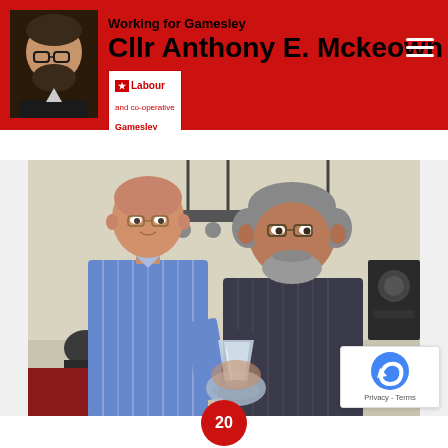Working for Gamesley – Cllr Anthony E. Mckeown
[Figure (photo): Two men standing together holding a glass award trophy. Left man is taller, bald, wearing a blue striped shirt. Right man has grey hair and beard, wearing a dark patterned shirt. Background shows a hall with lighting equipment and a speaker. A third person is visible seated in the background left.]
20